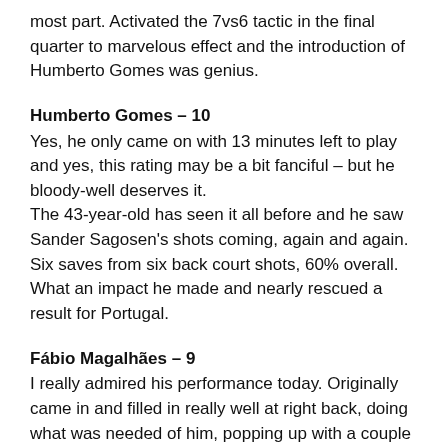most part. Activated the 7vs6 tactic in the final quarter to marvelous effect and the introduction of Humberto Gomes was genius.
Humberto Gomes – 10
Yes, he only came on with 13 minutes left to play and yes, this rating may be a bit fanciful – but he bloody-well deserves it.
The 43-year-old has seen it all before and he saw Sander Sagosen's shots coming, again and again. Six saves from six back court shots, 60% overall. What an impact he made and nearly rescued a result for Portugal.
Fábio Magalhães – 9
I really admired his performance today. Originally came in and filled in really well at right back, doing what was needed of him, popping up with a couple of goals. Then came into his own when playing 7vs6, scoring at left back, then giving assist after assist at right back. Did exactly what was needed from him.